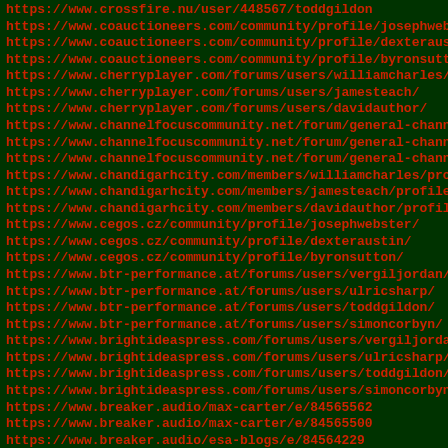https://www.crossfire.nu/user/448567/toddgildon
https://www.coauctioneers.com/community/profile/josephwebst
https://www.coauctioneers.com/community/profile/dexterausti
https://www.coauctioneers.com/community/profile/byronsutton
https://www.cherryplayer.com/forums/users/williamcharles/
https://www.cherryplayer.com/forums/users/jamesteach/
https://www.cherryplayer.com/forums/users/davidauthor/
https://www.channelfocuscommunity.net/forum/general-channel
https://www.channelfocuscommunity.net/forum/general-channel
https://www.channelfocuscommunity.net/forum/general-channel
https://www.chandigarhcity.com/members/williamcharles/profi
https://www.chandigarhcity.com/members/jamesteach/profile/
https://www.chandigarhcity.com/members/davidauthor/profile/
https://www.cegos.cz/community/profile/josephwebster/
https://www.cegos.cz/community/profile/dexteraustin/
https://www.cegos.cz/community/profile/byronsutton/
https://www.btr-performance.at/forums/users/vergiljordan/
https://www.btr-performance.at/forums/users/ulricsharp/
https://www.btr-performance.at/forums/users/toddgildon/
https://www.btr-performance.at/forums/users/simoncorbyn/
https://www.brightideaspress.com/forums/users/vergiljordan/
https://www.brightideaspress.com/forums/users/ulricsharp/
https://www.brightideaspress.com/forums/users/toddgildon/
https://www.brightideaspress.com/forums/users/simoncorbyn/
https://www.breaker.audio/max-carter/e/84565562
https://www.breaker.audio/max-carter/e/84565500
https://www.breaker.audio/esa-blogs/e/84564229
https://www.breaker.audio/esa-blogs/e/84564221
https://www.breaker.audio/comprehensive-blogs/e/84567993